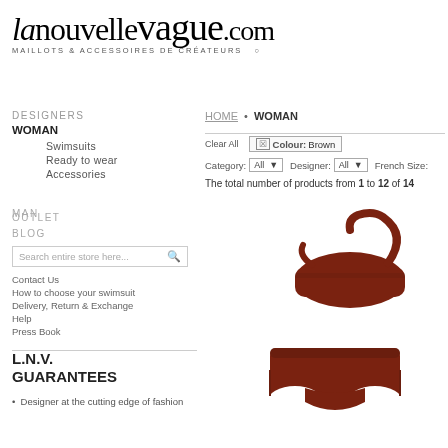[Figure (logo): La Nouvelle Vague .COM logo with tagline MAILLOTS & ACCESSOIRES DE CRÉATEURS]
DESIGNERS
WOMAN
Swimsuits
Ready to wear
Accessories
MAN
OUTLET
BLOG
Search entire store here...
Contact Us
How to choose your swimsuit
Delivery, Return & Exchange
Help
Press Book
L.N.V. GUARANTEES
Designer at the cutting edge of fashion
HOME • WOMAN
Clear All  ⊠ Colour: Brown
Category: All  Designer: All  French Size:
The total number of products from 1 to 12 of 14
[Figure (photo): Brown bikini top swimsuit product photo]
[Figure (photo): Brown bikini bottom swimsuit product photo]